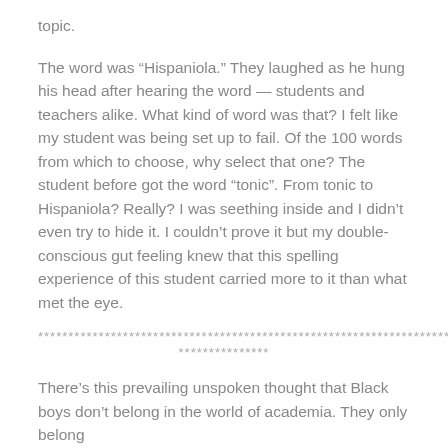topic.
The word was “Hispaniola.” They laughed as he hung his head after hearing the word — students and teachers alike. What kind of word was that? I felt like my student was being set up to fail. Of the 100 words from which to choose, why select that one? The student before got the word “tonic”. From tonic to Hispaniola? Really? I was seething inside and I didn’t even try to hide it. I couldn’t prove it but my double-conscious gut feeling knew that this spelling experience of this student carried more to it than what met the eye.
******************************************************************************
***************
There’s this prevailing unspoken thought that Black boys don’t belong in the world of academia. They only belong